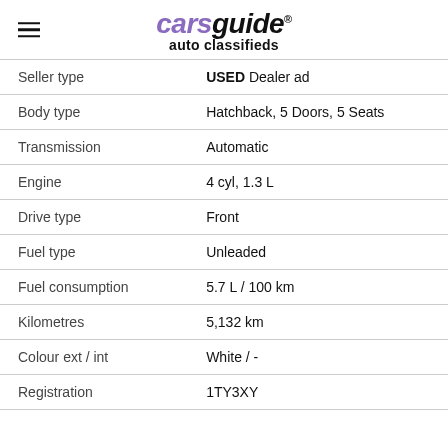carsguide auto classifieds
| Field | Value |
| --- | --- |
| Seller type | USED Dealer ad |
| Body type | Hatchback, 5 Doors, 5 Seats |
| Transmission | Automatic |
| Engine | 4 cyl, 1.3 L |
| Drive type | Front |
| Fuel type | Unleaded |
| Fuel consumption | 5.7 L / 100 km |
| Kilometres | 5,132 km |
| Colour ext / int | White / - |
| Registration | 1TY3XY |